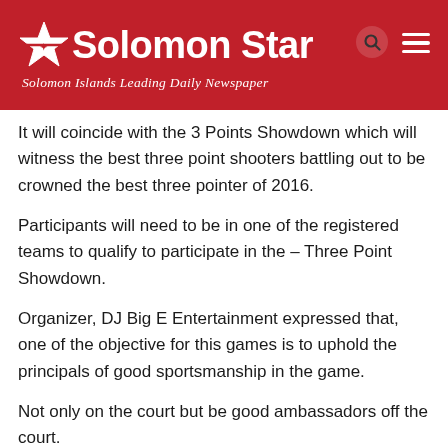Solomon Star — Solomon Islands Leading Daily Newspaper
It will coincide with the 3 Points Showdown which will witness the best three point shooters battling out to be crowned the best three pointer of 2016.
Participants will need to be in one of the registered teams to qualify to participate in the – Three Point Showdown.
Organizer, DJ Big E Entertainment expressed that, one of the objective for this games is to uphold the principals of good sportsmanship in the game.
Not only on the court but be good ambassadors off the court.
This will encourage everyone to play with passion for the game while respecting each other both on and off the court.